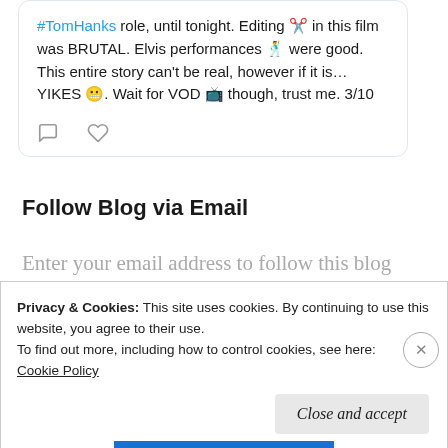#TomHanks role, until tonight. Editing ✂️ in this film was BRUTAL. Elvis performances 🕺 were good. This entire story can't be real, however if it is…YIKES 😬. Wait for VOD 📺 though, trust me. 3/10
Follow Blog via Email
Enter your email address to follow this blog and receive notifications of new posts by email.
Privacy & Cookies: This site uses cookies. By continuing to use this website, you agree to their use. To find out more, including how to control cookies, see here: Cookie Policy
Close and accept